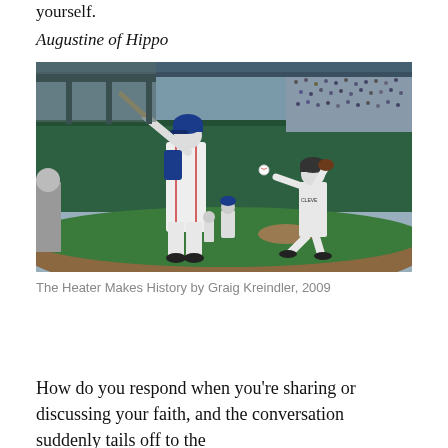yourself.
Augustine of Hippo
[Figure (photo): A painting of a baseball game scene — a batter at the plate ready to swing, a pitcher in mid-delivery wearing a Cleveland uniform, a catcher crouching, and a fielder in the background. The stadium has green walls and a crowd in the stands. Realistic, colorized painting style.]
The Heater Makes History by Graig Kreindler, 2009
How do you respond when you're sharing or discussing your faith, and the conversation suddenly tails off to the